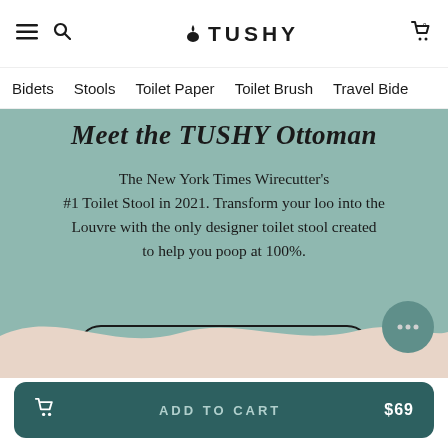≡🔍   TUSHY   🛒0
Bidets   Stools   Toilet Paper   Toilet Brush   Travel Bide
Meet the TUSHY Ottoman
The New York Times Wirecutter's #1 Toilet Stool in 2021. Transform your loo into the Louvre with the only designer toilet stool created to help you poop at 100%.
[Figure (other): WATCH THE VIDEO button with play icon]
[Figure (other): Sand wave decorative divider at bottom of teal section]
[Figure (other): Chat support bubble button]
ADD TO CART   $69